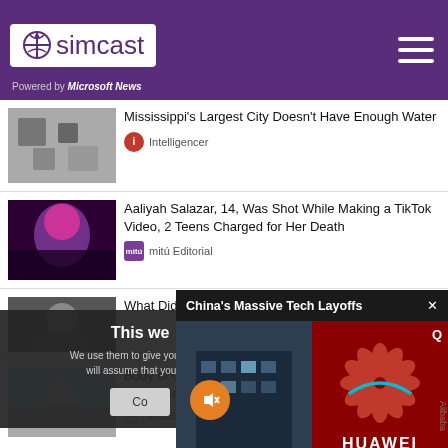[Figure (screenshot): Simcast app header with purple background, logo, 'Powered by Microsoft News', and hamburger menu]
Mississippi's Largest City Doesn't Have Enough Water
Intelligencer
Aaliyah Salazar, 14, Was Shot While Making a TikTok Video, 2 Teens Charged for Her Death
mitú Editorial
What Did Mikhai
[Figure (screenshot): Video popup overlay: China's Massive Tech Layoffs with Huawei logo visible]
This we
We use them to give you the be will assume that you are
Co
Body of German man missing for 32 years found on Swiss glacier
Deutsche Welle  Deutsche Welle